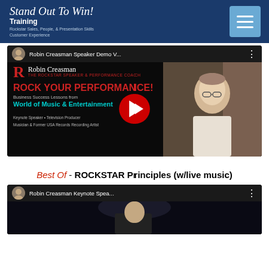Stand Out To Win! Training - Rockstar Sales, People, & Presentation Skills - Customer Experience
[Figure (screenshot): YouTube video thumbnail for Robin Creasman Speaker Demo Video featuring ROCK YOUR PERFORMANCE! Business Success Lessons from the World of Music & Entertainment. Shows play button overlay and photo of Robin Creasman.]
Best Of - ROCKSTAR Principles (w/live music)
[Figure (screenshot): YouTube video thumbnail for Robin Creasman Keynote Speaker video.]